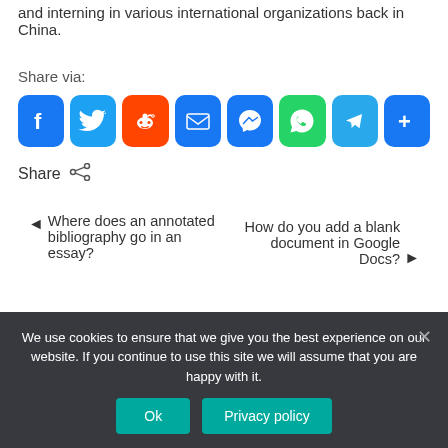and interning in various international organizations back in China.
Share via:
[Figure (infographic): Row of social sharing icon buttons: Facebook (blue), Twitter (blue), Reddit (orange), Email (blue envelope), Messenger (blue), WhatsApp (green), Telegram (light blue), More/Share (blue plus)]
Share
Where does an annotated bibliography go in an essay?
How do you add a blank document in Google Docs?
We use cookies to ensure that we give you the best experience on our website. If you continue to use this site we will assume that you are happy with it.
Ok
Privacy policy